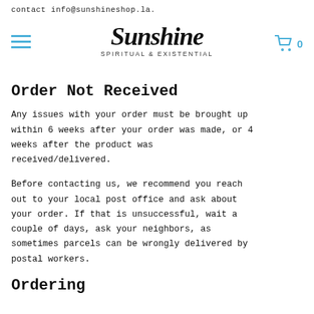contact info@sunshineshop.la. [Sunshine Spiritual & Existential logo] [cart icon] 0
Order Not Received
Any issues with your order must be brought up within 6 weeks after your order was made, or 4 weeks after the product was received/delivered.
Before contacting us, we recommend you reach out to your local post office and ask about your order. If that is unsuccessful, wait a couple of days, ask your neighbors, as sometimes parcels can be wrongly delivered by postal workers.
Ordering